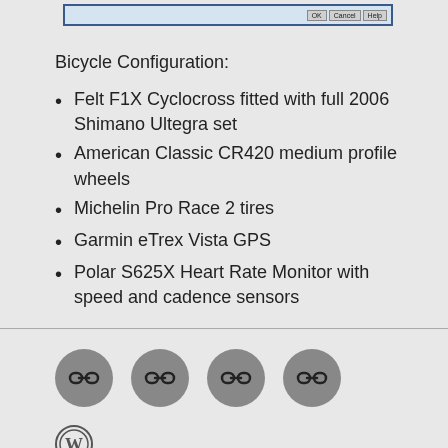[Figure (screenshot): Dialog box screenshot with OK, Cancel, Help buttons, blue border]
Bicycle Configuration:
Felt F1X Cyclocross fitted with full 2006 Shimano Ultegra set
American Classic CR420 medium profile wheels
Michelin Pro Race 2 tires
Garmin eTrex Vista GPS
Polar S625X Heart Rate Monitor with speed and cadence sensors
[Figure (illustration): Four grey circle social media link icons in a row]
[Figure (logo): WordPress logo icon]